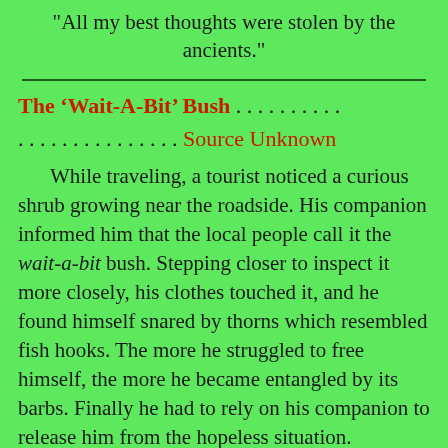"All my best thoughts were stolen by the ancients."
The ‘Wait-A-Bit’ Bush . . . . . . . . . . . . . . . . . . . . . . . Source Unknown
While traveling, a tourist noticed a curious shrub growing near the roadside. His companion informed him that the local people call it the wait-a-bit bush. Stepping closer to inspect it more closely, his clothes touched it, and he found himself snared by thorns which resembled fish hooks. The more he struggled to free himself, the more he became entangled by its barbs. Finally he had to rely on his companion to release him from the hopeless situation.